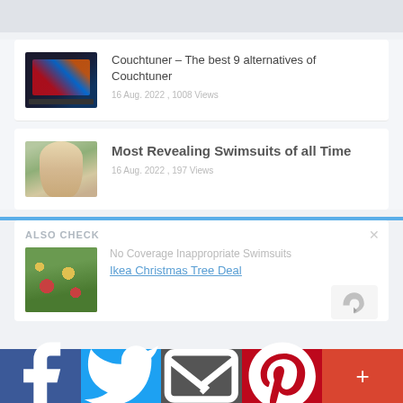[Figure (screenshot): Gray top bar area (header region)]
Couchtuner – The best 9 alternatives of Couchtuner
16 Aug. 2022 , 1008 Views
Most Revealing Swimsuits of all Time
16 Aug. 2022 , 197 Views
ALSO CHECK
No Coverage Inappropriate Swimsuits
Ikea Christmas Tree Deal
f  Twitter  Email  Pinterest  +